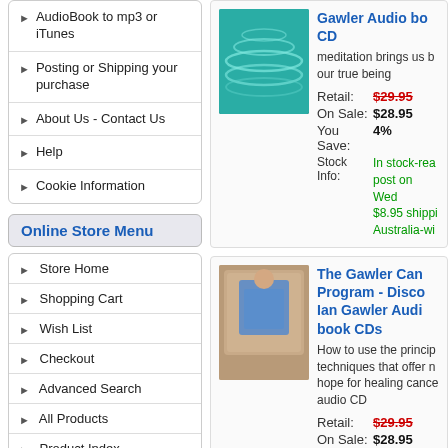AudioBook to mp3 or iTunes
Posting or Shipping your purchase
About Us - Contact Us
Help
Cookie Information
Online Store Menu
Store Home
Shopping Cart
Wish List
Checkout
Advanced Search
All Products
Product Index
Specials
Best Sellers
New Products
Gawler Audio book CD
meditation brings us b... our true being
Retail: $29.95 | On Sale: $28.95 | You Save: 4%
Stock Info: In stock-ready to post on Wed, $8.95 shipping Australia-wide
The Gawler Cancer Program - Discover Ian Gawler Audio book CDs
How to use the principles and techniques that offer new hope for healing cancer audio CD
Retail: $29.95 | On Sale: $28.95 | You Save: 4%